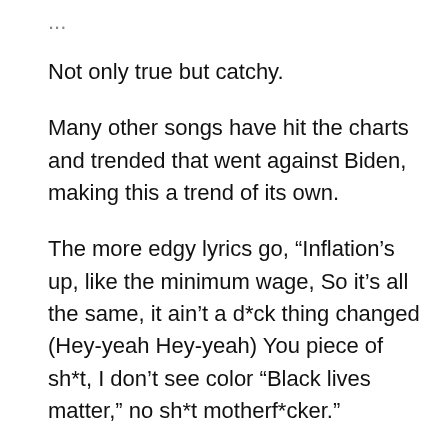Not only true but catchy.
Many other songs have hit the charts and trended that went against Biden, making this a trend of its own.
The more edgy lyrics go, “Inflation’s up, like the minimum wage, So it’s all the same, it ain’t a d*ck thing changed (Hey-yeah Hey-yeah) You piece of sh*t, I don’t see color “Black lives matter,” no sh*t motherf*cker.”
It is part of the more fantastic picture of the fight